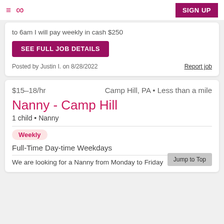≡  ∞  SIGN UP
to 6am I will pay weekly in cash $250
SEE FULL JOB DETAILS
Posted by Justin I. on 8/28/2022
Report job
$15–18/hr   Camp Hill, PA • Less than a mile
Nanny - Camp Hill
1 child • Nanny
Weekly
Full-Time Day-time Weekdays
We are looking for a Nanny from Monday to Friday